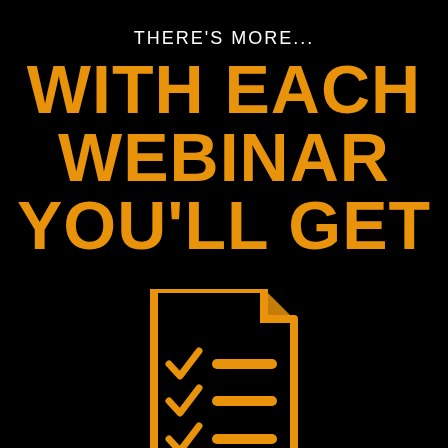THERE'S MORE...
WITH EACH WEBINAR YOU'LL GET
[Figure (illustration): Orange outline icon of a document/checklist with three checkmarks and lines, representing a checklist or report handout]